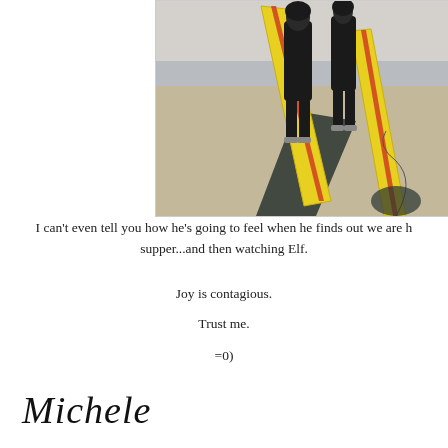[Figure (photo): Two people in wetsuits standing on a beach holding yellow surfboards]
I can't even tell you how he's going to feel when he finds out we are h supper...and then watching Elf.
Joy is contagious.
Trust me.
=0)
Michele